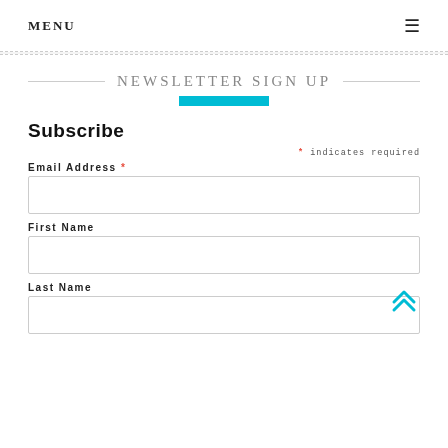MENU ☰
NEWSLETTER SIGN UP
Subscribe
* indicates required
Email Address *
First Name
Last Name